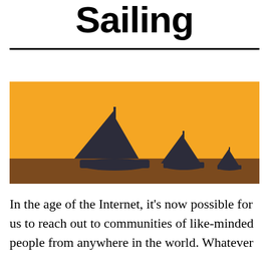Sailing
[Figure (illustration): Silhouette illustration of three sailboats on water against an orange sunset sky. A large sailboat on the left, a medium one in the center, and a small one on the right. The water/horizon is dark brown, the sky is bright orange.]
In the age of the Internet, it’s now possible for us to reach out to communities of like-minded people from anywhere in the world. Whatever